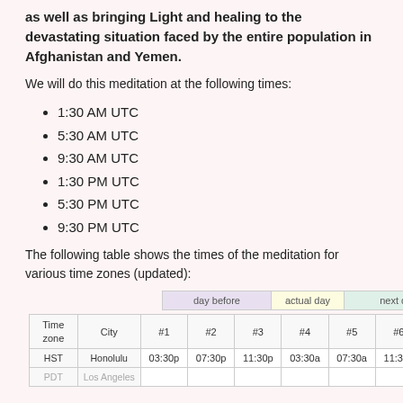as well as bringing Light and healing to the devastating situation faced by the entire population in Afghanistan and Yemen.
We will do this meditation at the following times:
1:30 AM UTC
5:30 AM UTC
9:30 AM UTC
1:30 PM UTC
5:30 PM UTC
9:30 PM UTC
The following table shows the times of the meditation for various time zones (updated):
| Time zone | City | #1 | #2 | #3 | #4 | #5 | #6 |
| --- | --- | --- | --- | --- | --- | --- | --- |
| HST | Honolulu | 03:30p | 07:30p | 11:30p | 03:30a | 07:30a | 11:30a |
| PDT | Los Angeles | 06:30p | 10:30p | 02:30a | 06:30a | 10:30a | 02:30p |